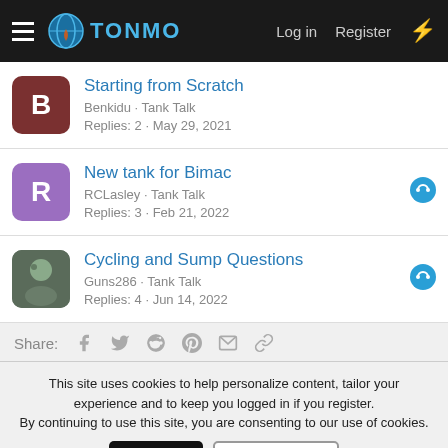TONMO — Log in  Register
Starting from Scratch — Benkidu · Tank Talk — Replies: 2 · May 29, 2021
New tank for Bimac — RCLasley · Tank Talk — Replies: 3 · Feb 21, 2022
Cycling and Sump Questions — Guns286 · Tank Talk — Replies: 4 · Jun 14, 2022
Share:
This site uses cookies to help personalize content, tailor your experience and to keep you logged in if you register. By continuing to use this site, you are consenting to our use of cookies.